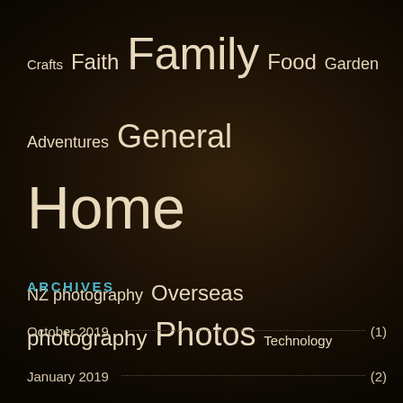[Figure (infographic): Tag cloud with dark textured background showing blog categories in varying font sizes. Tags include Crafts, Faith, Family, Food, Garden, Adventures, General, Home, NZ photography, Overseas photography, Photos, Technology, Travel, Uncategorized.]
ARCHIVES
October 2019 (1)
January 2019 (2)